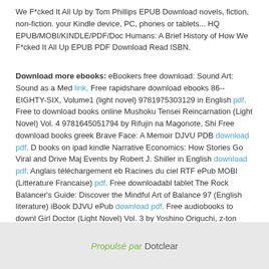We F*cked It All Up by Tom Phillips EPUB Download novels, fiction, non-fiction. your Kindle device, PC, phones or tablets... HQ EPUB/MOBI/KINDLE/PDF/Doc Humans: A Brief History of How We F*cked It All Up EPUB PDF Download Read ISBN.
Download more ebooks: eBookers free download: Sound Art: Sound as a Med link, Free rapidshare download ebooks 86--EIGHTY-SIX, Volume1 (light novel) 9781975303129 in English pdf, Free to download books online Mushoku Tensei Reincarnation (Light Novel) Vol. 4 9781645051794 by Rifujin na Magonote, Shi Free download books greek Brave Face: A Memoir DJVU PDB download pdf, D books on ipad kindle Narrative Economics: How Stories Go Viral and Drive Maj Events by Robert J. Shiller in English download pdf, Anglais téléchargement eb Racines du ciel RTF ePub MOBI (Litterature Francaise) pdf, Free downloadabl tablet The Rock Balancer&#039;s Guide: Discover the Mindful Art of Balance 97 (English literature) iBook DJVU ePub download pdf, Free audiobooks to downl Girl Doctor (Light Novel) Vol. 3 by Yoshino Origuchi, z-ton (English Edition) PDB 9781626928671 read book,
Propulsé par Dotclear